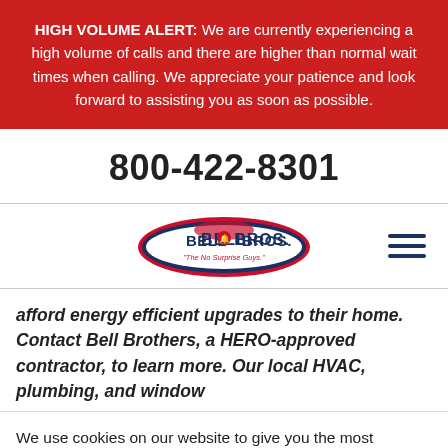HIGH VOLUME ALERT: We are currently experiencing a high volume of calls and there are higher than normal wait times when calling. We appreciate your patience and look forward to assisting you as soon as possible.
800-422-8301
[Figure (logo): Bell Bros. logo — oval shape with dark blue/red colors, text 'Bell Bros.' and tagline 'The No Surprise Guys.']
afford energy efficient upgrades to their home. Contact Bell Brothers, a HERO-approved contractor, to learn more. Our local HVAC, plumbing, and window
We use cookies on our website to give you the most relevant experience by remembering your preferences and repeat visits. By clicking “Accept”, you consent to the use of ALL the cookies.
Cookie settings
ACCEPT